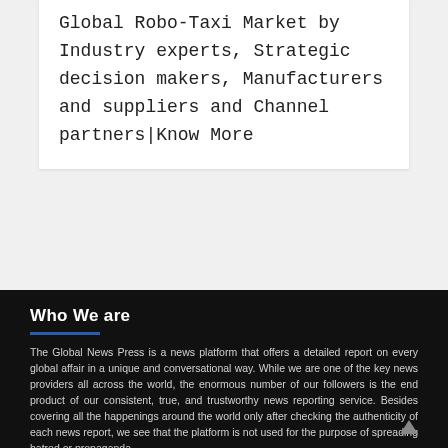Global Robo-Taxi Market by Industry experts, Strategic decision makers, Manufacturers and suppliers and Channel partners|Know More
Who We are
The Global News Press is a news platform that offers a detailed report on every global affair in a unique and conversational way. While we are one of the key news providers all across the world, the enormous number of our followers is the end product of our consistent, true, and trustworthy news reporting service. Besides covering all the happenings around the world only after checking the authenticity of each news report, we see that the platform is not used for the purpose of spreading hatred or propaganda.